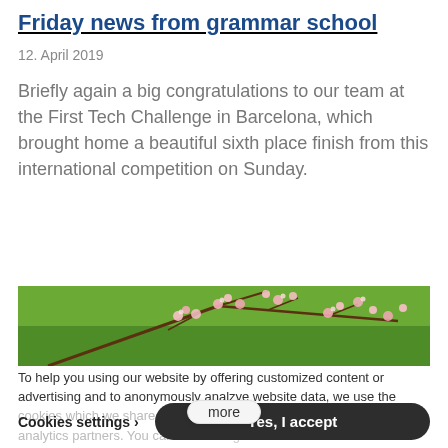Friday news from grammar school
12. April 2019
Briefly again a big congratulations to our team at the First Tech Challenge in Barcelona, which brought home a beautiful sixth place finish from this international competition on Sunday.
[Figure (photo): Photo of cherry blossom branches with pink flowers against a green grass background]
To help you using our website by offering customized content or advertising and to anonymously analzye website data, we use the cookies which we share with our social media, advertising, and analytics partners. You can edit settings within the link Cookies
more
Cookies settings >
Yes, I accept